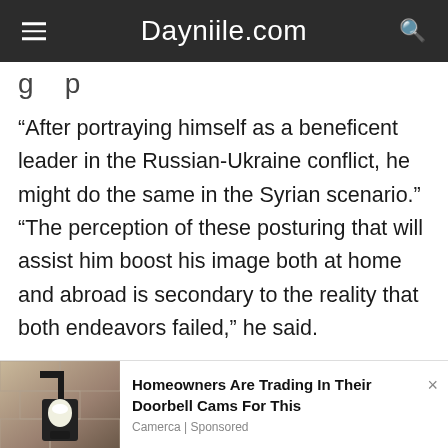Dayniile.com
g    p
“After portraying himself as a beneficent leader in the Russian-Ukraine conflict, he might do the same in the Syrian scenario.” “The perception of these posturing that will assist him boost his image both at home and abroad is secondary to the reality that both endeavors failed,” he said.
Improved diplomatic relations with Damascus might also assist Ankara in lessening the political
[Figure (photo): Outdoor wall lamp with white bulb against stone wall background]
Homeowners Are Trading In Their Doorbell Cams For This
Camerca | Sponsored